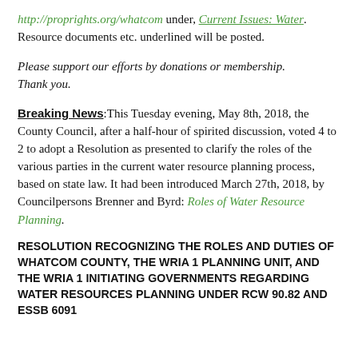http://proprights.org/whatcom under, Current Issues: Water. Resource documents etc. underlined will be posted.
Please support our efforts by donations or membership. Thank you.
Breaking News: This Tuesday evening, May 8th, 2018, the County Council, after a half-hour of spirited discussion, voted 4 to 2 to adopt a Resolution as presented to clarify the roles of the various parties in the current water resource planning process, based on state law. It had been introduced March 27th, 2018, by Councilpersons Brenner and Byrd: Roles of Water Resource Planning.
RESOLUTION RECOGNIZING THE ROLES AND DUTIES OF WHATCOM COUNTY, THE WRIA 1 PLANNING UNIT, AND THE WRIA 1 INITIATING GOVERNMENTS REGARDING WATER RESOURCES PLANNING UNDER RCW 90.82 AND ESSB 6091